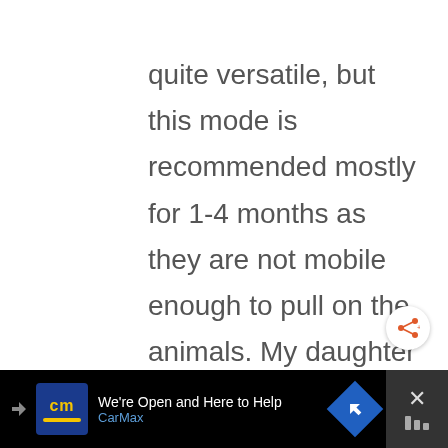quite versatile, but this mode is recommended mostly for 1-4 months as they are not mobile enough to pull on the animals. My daughter tends to leave it alone so I have it on the side of her crib still. 4+ months you can remove the mobile and have the picture project on the wall. 18+ months the device can be placed
[Figure (other): Share button (circular white button with orange share icon)]
[Figure (other): CarMax advertisement banner at bottom: black background with CarMax logo, text 'We're Open and Here to Help' and 'CarMax', blue directional sign icon, and close button on right]